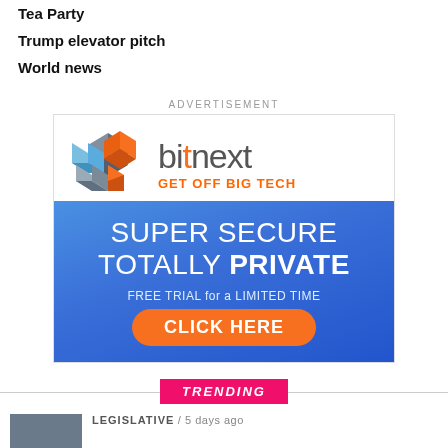Tea Party
Trump elevator pitch
World news
[Figure (infographic): Bitnext advertisement: logo with colorful 3D cube blocks and 'bitnext' text with orange dot. Tagline: GET OFF BIG TECH. Blue curved background with text: SUPER SECURE TOTALLY PRIVATE. FREE TRIAL for a LIMITED TIME. Orange CLICK HERE button.]
TRENDING
LEGISLATIVE / 5 days ago